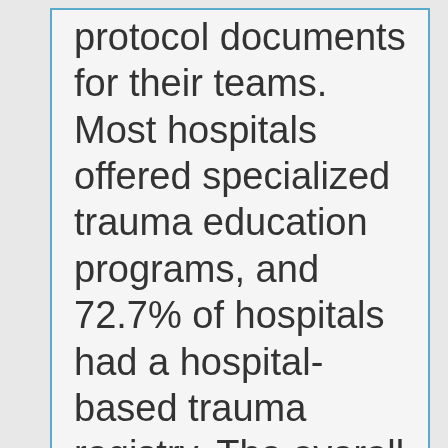protocol documents for their teams. Most hospitals offered specialized trauma education programs, and 72.7% of hospitals had a hospital-based trauma registry. The overall survival discharge rate was 97.2%, however, varied greatly between 95.1% and 99.7%. A